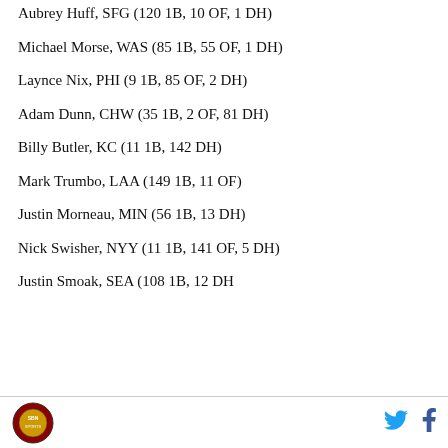Aubrey Huff, SFG (120 1B, 10 OF, 1 DH)
Michael Morse, WAS (85 1B, 55 OF, 1 DH)
Laynce Nix, PHI (9 1B, 85 OF, 2 DH)
Adam Dunn, CHW (35 1B, 2 OF, 81 DH)
Billy Butler, KC (11 1B, 142 DH)
Mark Trumbo, LAA (149 1B, 11 OF)
Justin Morneau, MIN (56 1B, 13 DH)
Nick Swisher, NYY (11 1B, 141 OF, 5 DH)
Justin Smoak, SEA (108 1B, 12 DH